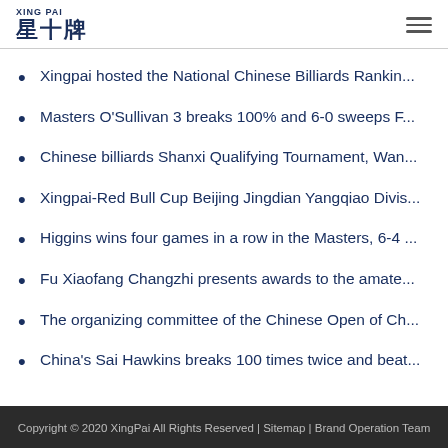XING PAI 星十牌
Xingpai hosted the National Chinese Billiards Rankin...
Masters O'Sullivan 3 breaks 100% and 6-0 sweeps F...
Chinese billiards Shanxi Qualifying Tournament, Wan...
Xingpai-Red Bull Cup Beijing Jingdian Yangqiao Divis...
Higgins wins four games in a row in the Masters, 6-4 ...
Fu Xiaofang Changzhi presents awards to the amate...
The organizing committee of the Chinese Open of Ch...
China's Sai Hawkins breaks 100 times twice and beat...
Copyright © 2020 XingPai All Rights Reserved | Sitemap | Brand Operation Team